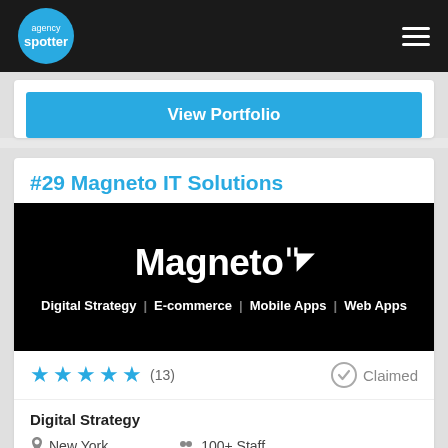agency spotter
View Portfolio
#29 Magneto IT Solutions
[Figure (logo): Magneto IT Solutions logo on black background with text: Digital Strategy | E-commerce | Mobile Apps | Web Apps]
★★★★★ (13) Claimed
Digital Strategy
New York   100+ Staff